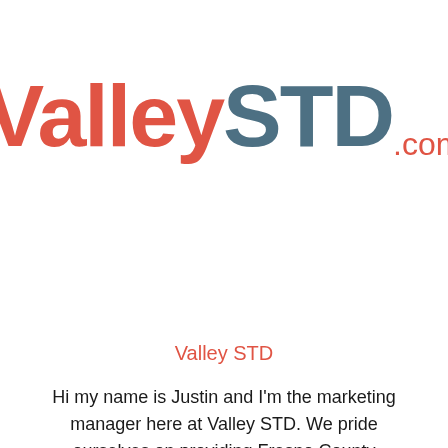[Figure (logo): ValleySTD.com logo with 'Valley' in red/coral and 'STD' in steel blue, '.com' in small red text]
Valley STD
Hi my name is Justin and I'm the marketing manager here at Valley STD. We pride ourselves on providing Fresno County residents quick, affordable, and efficient